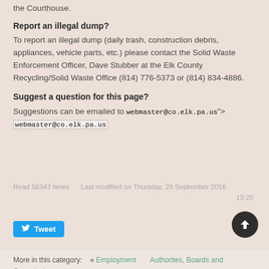the Courthouse.
Report an illegal dump?
To report an illegal dump (daily trash, construction debris, appliances, vehicle parts, etc.) please contact the Solid Waste Enforcement Officer, Dave Stubber at the Elk County Recycling/Solid Waste Office (814) 776-5373 or (814) 834-4886.
Suggest a question for this page?
Suggestions can be emailed to webmaster@co.elk.pa.us"> webmaster@co.elk.pa.us
Read 56343 times     Last modified on Thursday, 29 September 2016 13:20
More in this category:  « Employment     Authorites, Boards and Commissions »